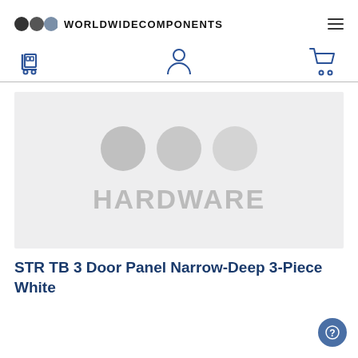WORLDWIDECOMPONENTS
[Figure (screenshot): Product placeholder image with three gray circles and bold gray text HARDWARE on light gray background]
STR TB 3 Door Panel Narrow-Deep 3-Piece White